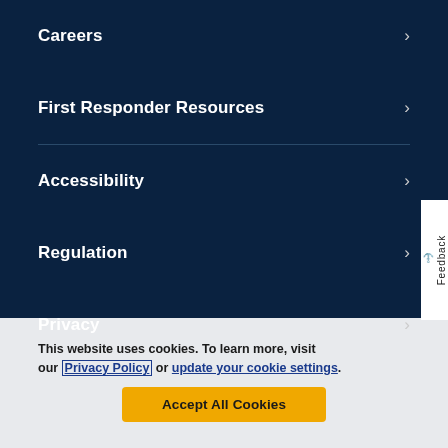Careers >
First Responder Resources >
Accessibility >
Regulation >
Privacy >
This website uses cookies. To learn more, visit our Privacy Policy or update your cookie settings.
Accept All Cookies